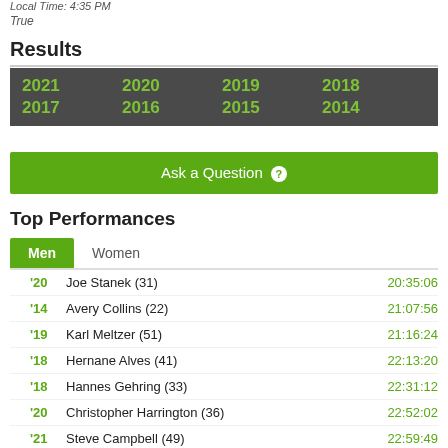Local Time: 4:35 PM
True
Results
| 2021 | 2020 | 2019 | 2018 |
| 2017 | 2016 | 2015 | 2014 |
Ask a Question
Top Performances
Men | Women
'20  Joe Stanek (31)  20:35:06
'14  Avery Collins (22)  21:07:56
'19  Karl Meltzer (51)  21:16:24
'18  Hernane Alves (41)  22:13:20
'18  Hannes Gehring (33)  22:31:12
'20  Christopher Harrington (36)  22:52:02
'21  Steve Campbell (49)  22:59:49
'19  Brendon Pierson (29)  23:02:34